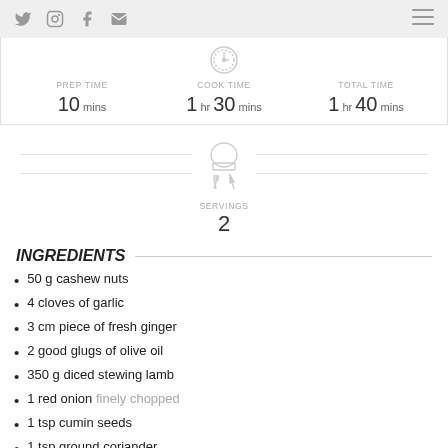Social icons (Twitter, Instagram, Facebook, Email) and hamburger menu
PREP TIME 10 mins | COOK TIME 1 hr 30 mins | TOTAL TIME 1 hr 40 mins
[Figure (illustration): Chef hat and crossed fork/knife icon, with horizontal divider lines]
SERVINGS 2
INGREDIENTS
50 g cashew nuts
4 cloves of garlic
3 cm piece of fresh ginger
2 good glugs of olive oil
350 g diced stewing lamb
1 red onion finely chopped
1 tsp cumin seeds
1 tsp ground coriander